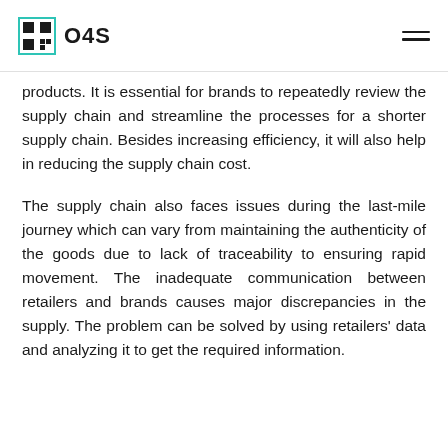O4S
products. It is essential for brands to repeatedly review the supply chain and streamline the processes for a shorter supply chain. Besides increasing efficiency, it will also help in reducing the supply chain cost.
The supply chain also faces issues during the last-mile journey which can vary from maintaining the authenticity of the goods due to lack of traceability to ensuring rapid movement. The inadequate communication between retailers and brands causes major discrepancies in the supply. The problem can be solved by using retailers' data and analyzing it to get the required information.